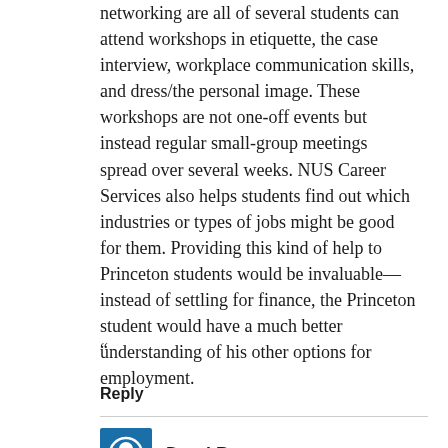networking are all of several students can attend workshops in etiquette, the case interview, workplace communication skills, and dress/the personal image. These workshops are not one-off events but instead regular small-group meetings spread over several weeks. NUS Career Services also helps students find out which industries or types of jobs might be good for them. Providing this kind of help to Princeton students would be invaluable—instead of settling for finance, the Princeton student would have a much better understanding of his other options for employment.
“
Reply
Daryl Boey says: